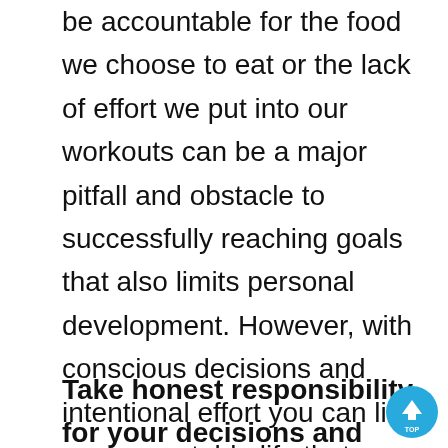be accountable for the food we choose to eat or the lack of effort we put into our workouts can be a major pitfall and obstacle to successfully reaching goals that also limits personal development. However, with conscious decisions and intentional effort you can live an accountable life that helps you reach your personal goals while also improving other areas of your life. Here are some tips and tools that might help you begin living a more accountable life.
Take honest responsibility for your decisions and actions. We all make excus…